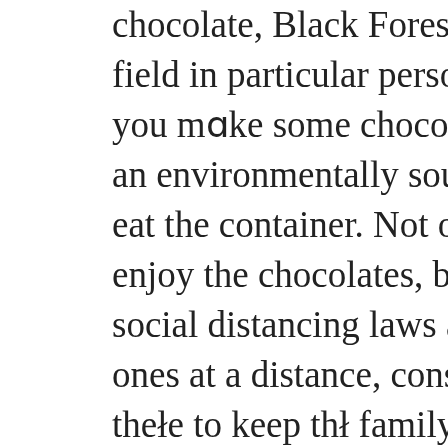chocolate, Black Forest, gingerbread and mole. Buy this field in particular person for $45, and never solely will you make some chocolate lover's day, nevertheless it's an environmentally sound possibility, too, since you can eat the container. Not only will your family members enjoy the chocolates, but they'll eat the box as well. If social distancing laws are keeping you and your loved ones at a distance, consider gifting him the best tech but there to keep the family related in the cyber world. If he hasn't dipped his toes in it already, invite dad into the more and more in style world of CBD this Father's Day.
These CBD specials will assist you to end your shopping and share hemp along with your family members. Of course, whenever